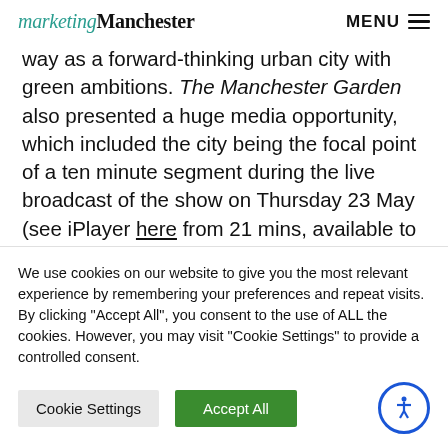marketingManchester MENU
way as a forward-thinking urban city with green ambitions. The Manchester Garden also presented a huge media opportunity, which included the city being the focal point of a ten minute segment during the live broadcast of the show on Thursday 23 May (see iPlayer here from 21 mins, available to watch until 22 June) as well as being featured in countless radio, print and
We use cookies on our website to give you the most relevant experience by remembering your preferences and repeat visits. By clicking “Accept All”, you consent to the use of ALL the cookies. However, you may visit “Cookie Settings” to provide a controlled consent.